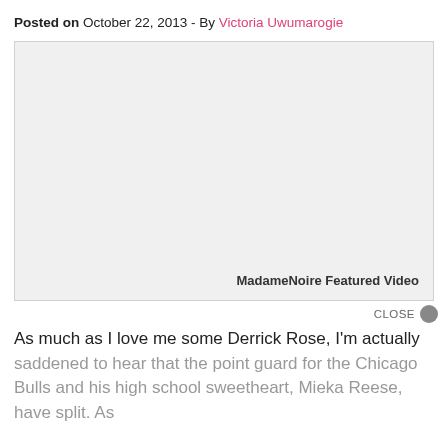Posted on October 22, 2013 - By Victoria Uwumarogie
[Figure (other): Embedded video player placeholder with light gray background. Label reads 'MadameNoire Featured Video' in bottom right.]
CLOSE
As much as I love me some Derrick Rose, I'm actually saddened to hear that the point guard for the Chicago Bulls and his high school sweetheart, Mieka Reese, have split. As